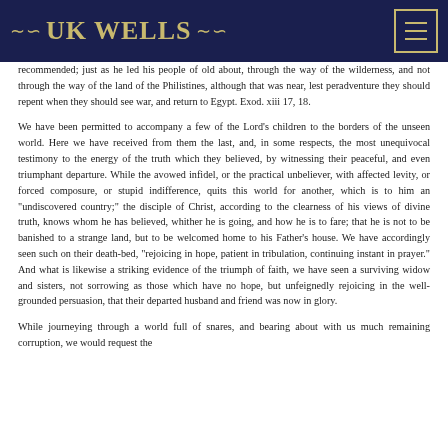UK WELLS
recommended; just as he led his people of old about, through the way of the wilderness, and not through the way of the land of the Philistines, although that was near, lest peradventure they should repent when they should see war, and return to Egypt. Exod. xiii 17, 18.
We have been permitted to accompany a few of the Lord's children to the borders of the unseen world. Here we have received from them the last, and, in some respects, the most unequivocal testimony to the energy of the truth which they believed, by witnessing their peaceful, and even triumphant departure. While the avowed infidel, or the practical unbeliever, with affected levity, or forced composure, or stupid indifference, quits this world for another, which is to him an "undiscovered country;" the disciple of Christ, according to the clearness of his views of divine truth, knows whom he has believed, whither he is going, and how he is to fare; that he is not to be banished to a strange land, but to be welcomed home to his Father's house. We have accordingly seen such on their death-bed, "rejoicing in hope, patient in tribulation, continuing instant in prayer." And what is likewise a striking evidence of the triumph of faith, we have seen a surviving widow and sisters, not sorrowing as those which have no hope, but unfeignedly rejoicing in the well-grounded persuasion, that their departed husband and friend was now in glory.
While journeying through a world full of snares, and bearing about with us much remaining corruption, we would request the